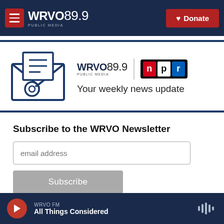WRVO PUBLIC MEDIA 89.9 | Donate
[Figure (logo): WRVO 89.9 Public Media newsletter banner with envelope icon and NPR logo. Text: Your weekly news update]
Subscribe to the WRVO Newsletter
WRVO FM | All Things Considered